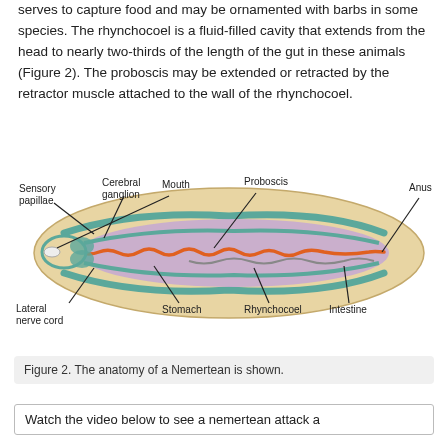serves to capture food and may be ornamented with barbs in some species. The rhynchocoel is a fluid-filled cavity that extends from the head to nearly two-thirds of the length of the gut in these animals (Figure 2). The proboscis may be extended or retracted by the retractor muscle attached to the wall of the rhynchocoel.
[Figure (illustration): Anatomical diagram of a Nemertean worm showing internal structures labeled: Sensory papillae, Cerebral ganglion, Mouth, Proboscis, Anus, Lateral nerve cord, Stomach, Rhynchocoel, Intestine. The body is elongated and oval, with a tan/beige outer layer, teal muscle bands, purple internal cavity, and an orange wavy proboscis running through the center.]
Figure 2. The anatomy of a Nemertean is shown.
Watch the video below to see a nemertean attack a